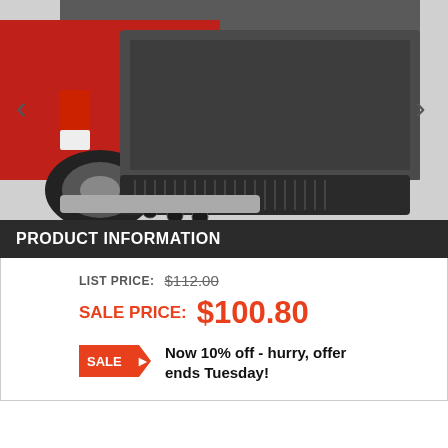[Figure (photo): Red pickup truck with open tailgate showing a black bed liner/mat installed in the truck bed. Navigation arrows on left and right sides of the image.]
PRODUCT INFORMATION
LIST PRICE: $112.00
SALE PRICE: $100.80
Now 10% off - hurry, offer ends Tuesday!